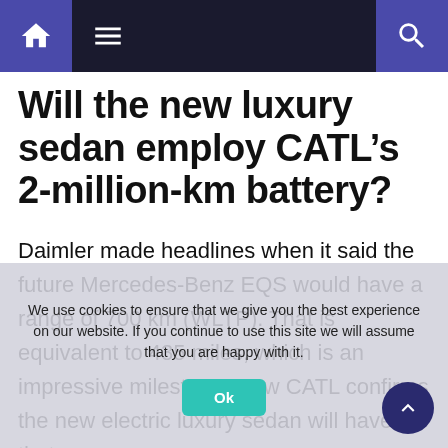Navigation bar with home, menu, and search icons
Will the new luxury sedan employ CATL’s 2-million-km battery?
Daimler made headlines when it said the future Mercedes-Benz EQS would have a range of 700 km (WLTP). That is equivalent to 435 miles, which is an impressive milestone. Now CATL confirms the new electric luxury sedan will have that range. The Chinese battery manufacturer knows that because it is the company that will
We use cookies to ensure that we give you the best experience on our website. If you continue to use this site we will assume that you are happy with it.